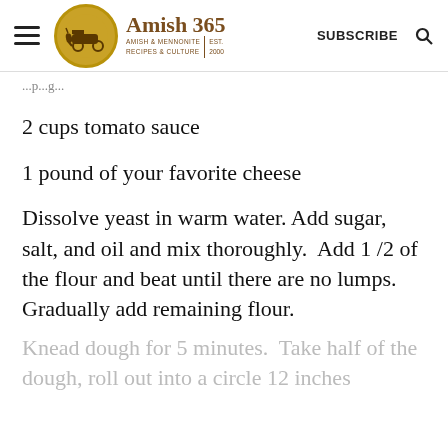Amish 365 | AMISH & MENNONITE RECIPES & CULTURE | EST. 2000 | SUBSCRIBE
...p...g...
2 cups tomato sauce
1 pound of your favorite cheese
Dissolve yeast in warm water. Add sugar, salt, and oil and mix thoroughly.  Add 1 /2 of the flour and beat until there are no lumps.  Gradually add remaining flour.
Knead dough for 5 minutes.  Take half of the dough, roll out into a circle 12 inches